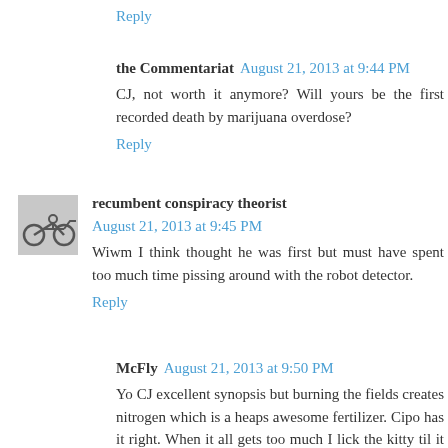Reply
the Commentariat August 21, 2013 at 9:44 PM
CJ, not worth it anymore? Will yours be the first recorded death by marijuana overdose?
Reply
recumbent conspiracy theorist August 21, 2013 at 9:45 PM
Wiwm I think thought he was first but must have spent too much time pissing around with the robot detector.
Reply
McFly August 21, 2013 at 9:50 PM
Yo CJ excellent synopsis but burning the fields creates nitrogen which is a heaps awesome fertilizer. Cipo has it right. When it all gets too much I lick the kitty til it quits